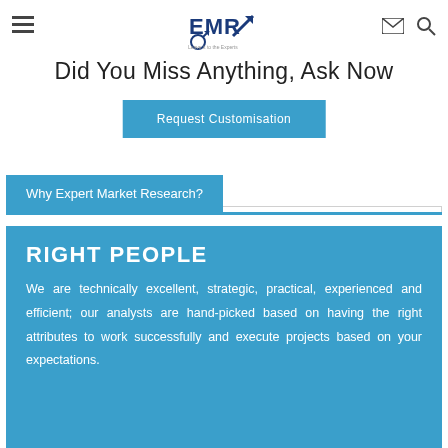EMR – Expert Market Research navigation bar with hamburger menu, logo, email and search icons
Did You Miss Anything, Ask Now
Request Customisation
Why Expert Market Research?
RIGHT PEOPLE
We are technically excellent, strategic, practical, experienced and efficient; our analysts are hand-picked based on having the right attributes to work successfully and execute projects based on your expectations.